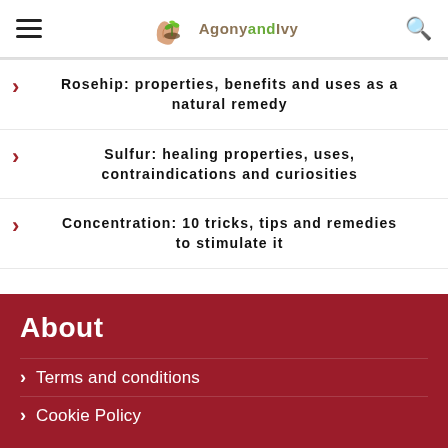Agonyandivy
Rosehip: properties, benefits and uses as a natural remedy
Sulfur: healing properties, uses, contraindications and curiosities
Concentration: 10 tricks, tips and remedies to stimulate it
About
Terms and conditions
Cookie Policy